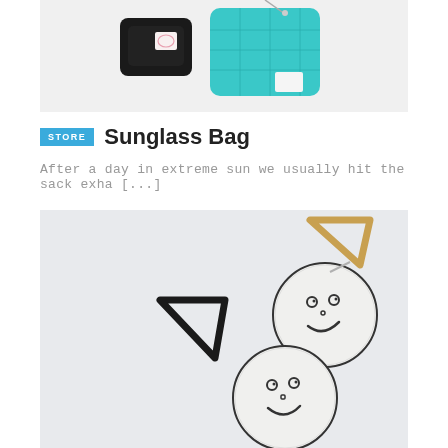[Figure (photo): Product photo showing a black small bag and a teal/turquoise quilted pouch with brand logo patches, on a white background]
STORE  Sunglass Bag
After a day in extreme sun we usually hit the sack exha [...]
[Figure (photo): Product photo showing two white embroidered smiley face medallion charms with black triangular frames (one gold, one black), on a light gray background]